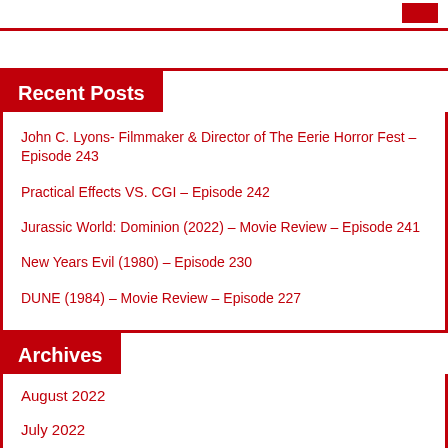Recent Posts
John C. Lyons- Filmmaker & Director of The Eerie Horror Fest – Episode 243
Practical Effects VS. CGI – Episode 242
Jurassic World: Dominion (2022) – Movie Review – Episode 241
New Years Evil (1980) – Episode 230
DUNE (1984) – Movie Review – Episode 227
Archives
August 2022
July 2022
January 2022